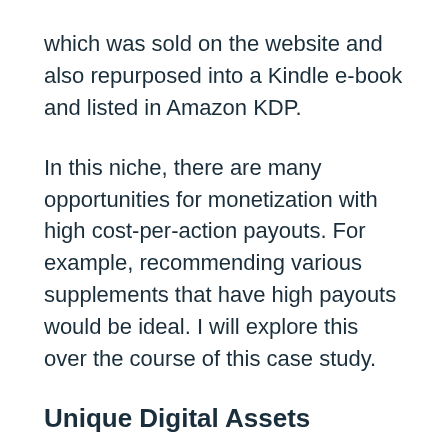which was sold on the website and also repurposed into a Kindle e-book and listed in Amazon KDP.
In this niche, there are many opportunities for monetization with high cost-per-action payouts. For example, recommending various supplements that have high payouts would be ideal. I will explore this over the course of this case study.
Unique Digital Assets
The site comes with additional assets such as:
Two digital “cheat sheets” in PDF format